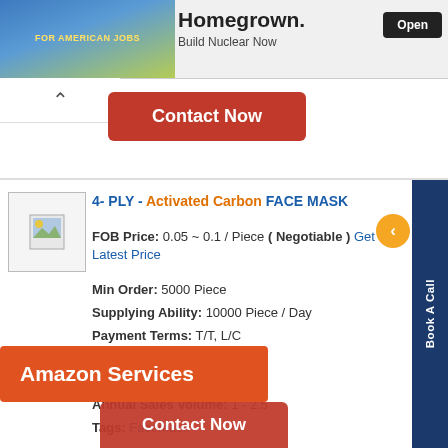[Figure (screenshot): Ad banner: FOR AMERICAN JOBS with Homegrown. Build Nuclear Now and Open button]
Homegrown.
Build Nuclear Now
Open
^
Contact Now
4- PLY - Activated Carbon FACE MASK
FOB Price: 0.05 ~ 0.1 / Piece ( Negotiable ) Get Latest Price
Min Order: 5000 Piece
Supplying Ability: 10000 Piece / Day
Payment Terms: T/T, L/C
Business Type: Exporters
No. of Employees: 26-50
Annual Sales Volume: 1 - 2.5
Tags: Facemask
Amazon Services
Contact Now